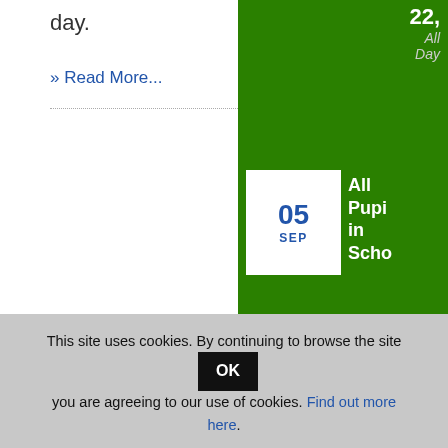day.
» Read More...
[Figure (other): School calendar event sidebar with green background showing two events: 05 SEP - All Pupils in School (All Day) and 08 SEP - Individual Student School Photo - Pret...]
This site uses cookies. By continuing to browse the site you are agreeing to our use of cookies. Find out more here.